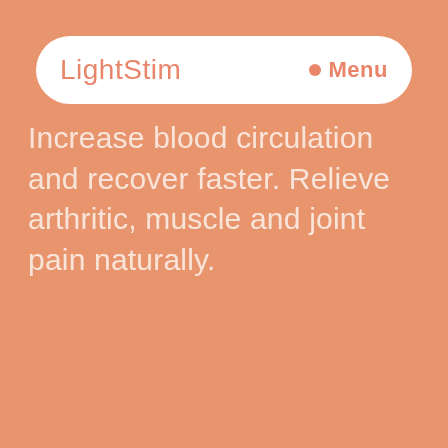LightStim  Menu
Increase blood circulation and recover faster. Relieve arthritic, muscle and joint pain naturally.
SHOP NOW